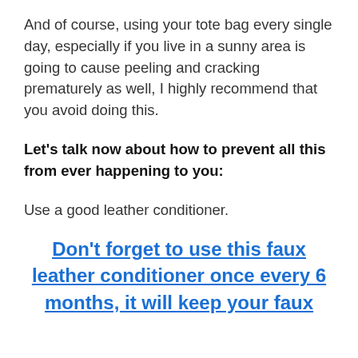And of course, using your tote bag every single day, especially if you live in a sunny area is going to cause peeling and cracking prematurely as well, I highly recommend that you avoid doing this.
Let's talk now about how to prevent all this from ever happening to you:
Use a good leather conditioner.
Don't forget to use this faux leather conditioner once every 6 months, it will keep your faux